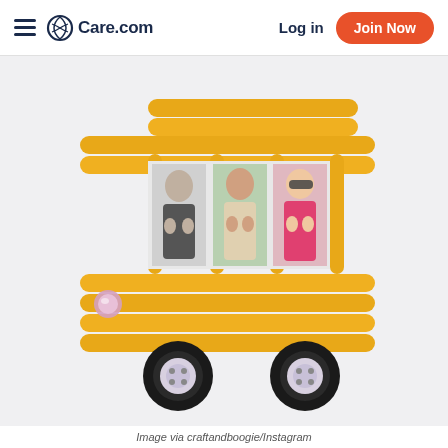Care.com | Log in | Join Now
[Figure (photo): A handmade school bus craft made from yellow-painted popsicle sticks arranged in a bus shape. Three vertical photo strips showing three smiling children are placed in the bus windows. Black foam circles with white button centers serve as wheels. A decorative gem is on the left side of the bus. The craft sits on a white background.]
Image via craftandboogie/Instagram